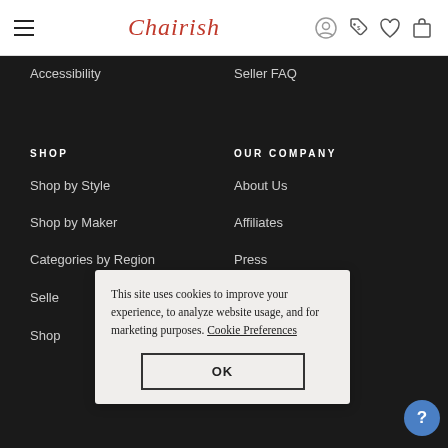Chairish navigation header with hamburger menu, logo, user icon, tag icon, heart icon, bag icon
Accessibility
Seller FAQ
SHOP
OUR COMPANY
Shop by Style
About Us
Shop by Maker
Affiliates
Categories by Region
Press
Selle…
Shop…
This site uses cookies to improve your experience, to analyze website usage, and for marketing purposes. Cookie Preferences
OK